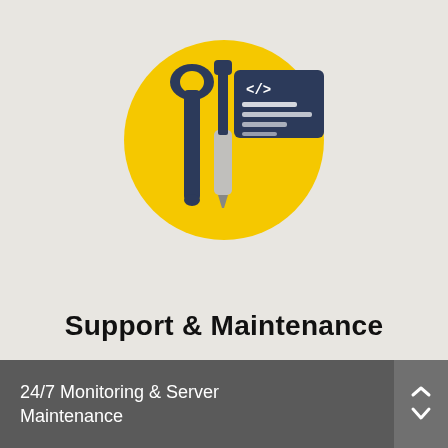[Figure (illustration): Yellow circle icon containing a wrench, screwdriver, and a code/document panel with </> tag, representing support and maintenance tools]
Support & Maintenance
24/7 Monitoring & Server Maintenance